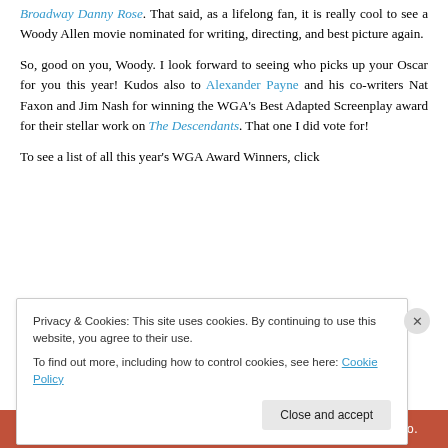Broadway Danny Rose. That said, as a lifelong fan, it is really cool to see a Woody Allen movie nominated for writing, directing, and best picture again.
So, good on you, Woody. I look forward to seeing who picks up your Oscar for you this year! Kudos also to Alexander Payne and his co-writers Nat Faxon and Jim Nash for winning the WGA's Best Adapted Screenplay award for their stellar work on The Descendants. That one I did vote for!
To see a list of all this year's WGA Award Winners, click
Privacy & Cookies: This site uses cookies. By continuing to use this website, you agree to their use.
To find out more, including how to control cookies, see here: Cookie Policy
[Figure (screenshot): Bottom bar with DuckDuckGo branding on orange/red background]